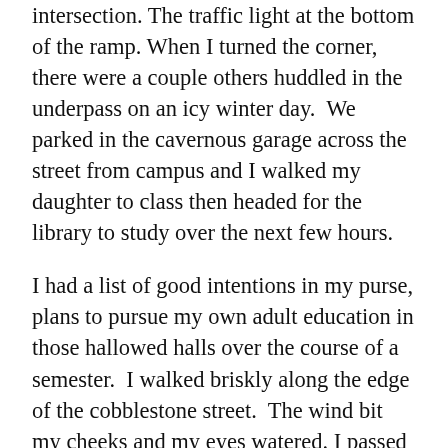intersection. The traffic light at the bottom of the ramp. When I turned the corner, there were a couple others huddled in the underpass on an icy winter day.  We parked in the cavernous garage across the street from campus and I walked my daughter to class then headed for the library to study over the next few hours.
I had a list of good intentions in my purse, plans to pursue my own adult education in those hallowed halls over the course of a semester.  I walked briskly along the edge of the cobblestone street.  The wind bit my cheeks and my eyes watered. I passed a couple more urban outdoorsmen loitering along the sidewalk.  Near the main entrance a small cluster of dudes needing their pants pulled up huddled close smoking cigarettes. I walked around them, entering through the tall wooden double doors.  A guy sitting on the bench in the entry vestibule, nodding off to sleep, served as the welcoming committee.